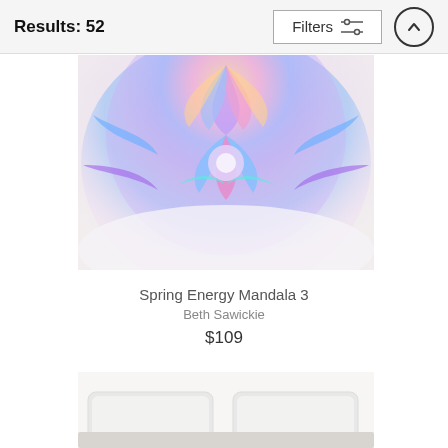Results: 52
[Figure (screenshot): Filters button with sliders icon]
[Figure (photo): Spring Energy Mandala 3 - colorful mandala art on a blanket/throw, showing purple, blue, pink, orange fractal mandala pattern on white background. Upper half of product visible.]
Spring Energy Mandala 3
Beth Sawickie
$109
[Figure (photo): Bottom portion of a second product showing white pillows and bedding peeking into frame from below.]